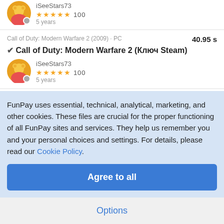iSeeStars73 ★★★★★ 100 5 years
Call of Duty: Modern Warfare 2 (2009) · PC 40.95 s ✔ Call of Duty: Modern Warfare 2 (Ключ Steam) iSeeStars73 ★★★★★ 100 5 years
Call of Duty: Black Ops 2 · PC 78.55 s ✔ Call of Duty: Black Ops 2 (Ключ Steam) iSeeStars73 ★★★★★ 100
FunPay uses essential, technical, analytical, marketing, and other cookies. These files are crucial for the proper functioning of all FunPay sites and services. They help us remember you and your personal choices and settings. For details, please read our Cookie Policy.
Agree to all
Options